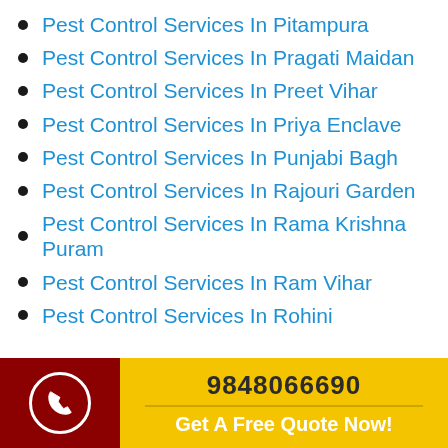Pest Control Services In Pitampura
Pest Control Services In Pragati Maidan
Pest Control Services In Preet Vihar
Pest Control Services In Priya Enclave
Pest Control Services In Punjabi Bagh
Pest Control Services In Rajouri Garden
Pest Control Services In Rama Krishna Puram
Pest Control Services In Ram Vihar
Pest Control Services In Rohini
9848066690  Get A Free Quote Now!